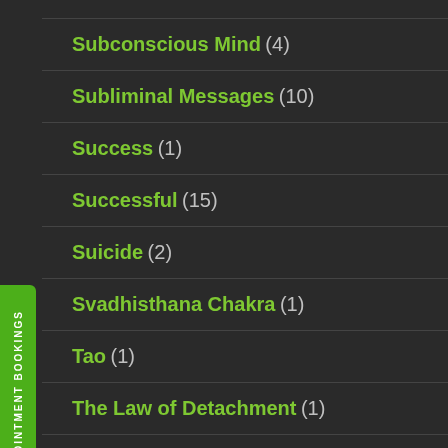Subconscious Mind (4)
Subliminal Messages (10)
Success (1)
Successful (15)
Suicide (2)
Svadhisthana Chakra (1)
Tao (1)
The Law of Detachment (1)
The Law of Dharma (1)
The Law of Dharma or Purpose in Life (1)